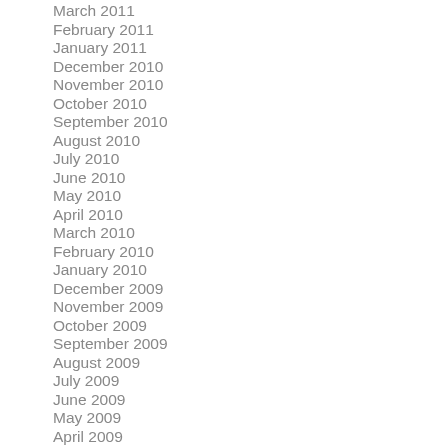March 2011
February 2011
January 2011
December 2010
November 2010
October 2010
September 2010
August 2010
July 2010
June 2010
May 2010
April 2010
March 2010
February 2010
January 2010
December 2009
November 2009
October 2009
September 2009
August 2009
July 2009
June 2009
May 2009
April 2009
March 2009
February 2009
January 2009
December 2008
November 2008
October 2008